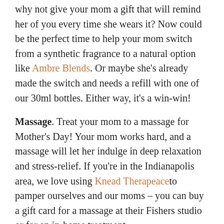why not give your mom a gift that will remind her of you every time she wears it? Now could be the perfect time to help your mom switch from a synthetic fragrance to a natural option like Ambre Blends. Or maybe she's already made the switch and needs a refill with one of our 30ml bottles. Either way, it's a win-win!
Massage. Treat your mom to a massage for Mother's Day! Your mom works hard, and a massage will let her indulge in deep relaxation and stress-relief. If you're in the Indianapolis area, we love using Knead Therapeaceto pamper ourselves and our moms – you can buy a gift card for a massage at their Fishers studio or for an in-home treatment.
Skincare. Everyone loves having glowing, healthy, and hydrated skin. That's why we created the Skin